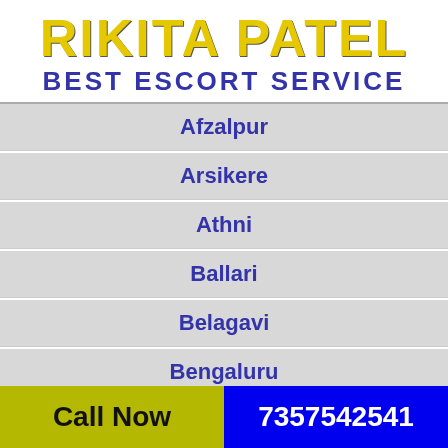RIKITA PATEL BEST ESCORT SERVICE
Afzalpur
Arsikere
Athni
Ballari
Belagavi
Bengaluru
Chikkamagaluru
Call Now  7357542541